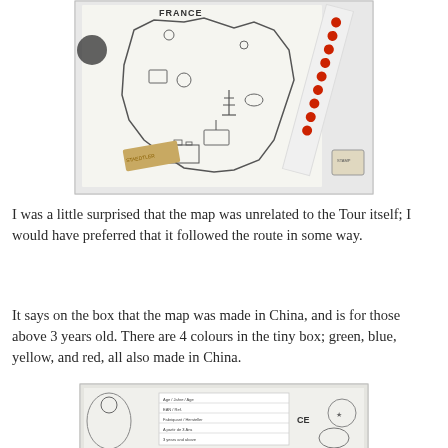[Figure (photo): A coloring map of France with illustrated landmarks and icons, with a rubber eraser and a strip of red dot stickers placed on top of it.]
I was a little surprised that the map was unrelated to the Tour itself; I would have preferred that it followed the route in some way.
It says on the box that the map was made in China, and is for those above 3 years old. There are 4 colours in the tiny box; green, blue, yellow, and red, all also made in China.
[Figure (photo): Bottom portion of a product box showing coloring map details, CE mark, and product information text in multiple languages.]